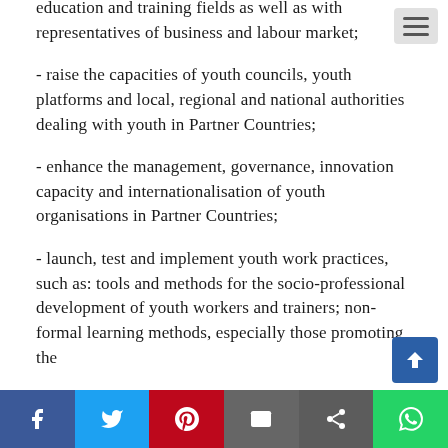education and training fields as well as with representatives of business and labour market;
- raise the capacities of youth councils, youth platforms and local, regional and national authorities dealing with youth in Partner Countries;
- enhance the management, governance, innovation capacity and internationalisation of youth organisations in Partner Countries;
- launch, test and implement youth work practices, such as: tools and methods for the socio-professional development of youth workers and trainers; non-formal learning methods, especially those promoting the